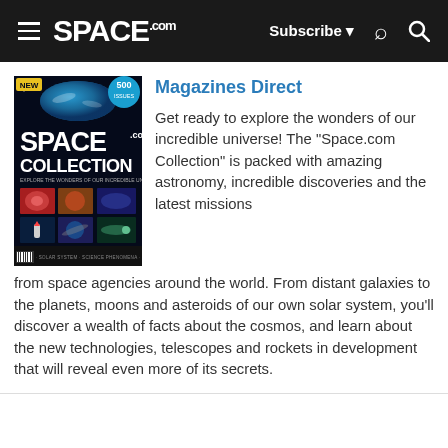SPACE.com — Subscribe — Search
[Figure (photo): Space.com Collection magazine cover with images of galaxies, planets, nebulae and spacecraft. Shows '500 issues' badge and 'NEW' label.]
Magazines Direct
Get ready to explore the wonders of our incredible universe! The "Space.com Collection" is packed with amazing astronomy, incredible discoveries and the latest missions from space agencies around the world. From distant galaxies to the planets, moons and asteroids of our own solar system, you'll discover a wealth of facts about the cosmos, and learn about the new technologies, telescopes and rockets in development that will reveal even more of its secrets.